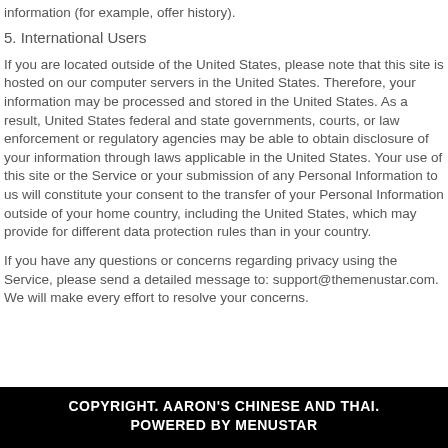information (for example, offer history).
5. International Users
If you are located outside of the United States, please note that this site is hosted on our computer servers in the United States. Therefore, your information may be processed and stored in the United States. As a result, United States federal and state governments, courts, or law enforcement or regulatory agencies may be able to obtain disclosure of your information through laws applicable in the United States. Your use of this site or the Service or your submission of any Personal Information to us will constitute your consent to the transfer of your Personal Information outside of your home country, including the United States, which may provide for different data protection rules than in your country.
If you have any questions or concerns regarding privacy using the Service, please send a detailed message to: support@themenustar.com. We will make every effort to resolve your concerns.
COPYRIGHT. AARON'S CHINESE AND THAI. POWERED BY MENUSTAR